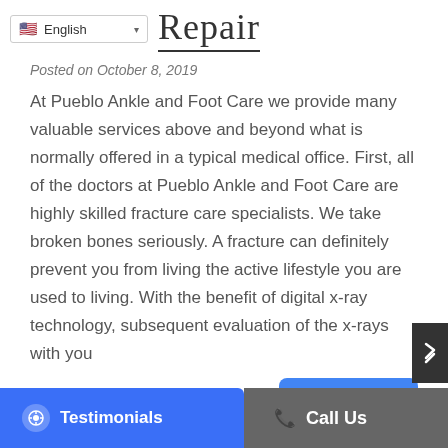English | Repair
Posted on October 8, 2019
At Pueblo Ankle and Foot Care we provide many valuable services above and beyond what is normally offered in a typical medical office. First, all of the doctors at Pueblo Ankle and Foot Care are highly skilled fracture care specialists. We take broken bones seriously. A fracture can definitely prevent you from living the active lifestyle you are used to living. With the benefit of digital x-ray technology, subsequent evaluation of the x-rays with you
Read More
Testimonials
Call Us